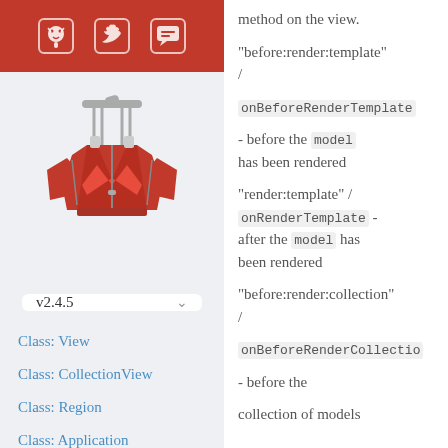[Figure (logo): Red header bar with GitHub, Twitter, and Gitter icon boxes]
[Figure (logo): Marionette.js red puppet logo illustration]
v2.4.5
Class: View
Class: CollectionView
Class: Region
Class: Application
Class: Behavior
Class: AppRouter
method on the view. "before:render:template" / onBeforeRenderTemplate - before the model has been rendered "render:template" / onRenderTemplate - after the model has been rendered "before:render:collection" / onBeforeRenderCollection - before the collection of models